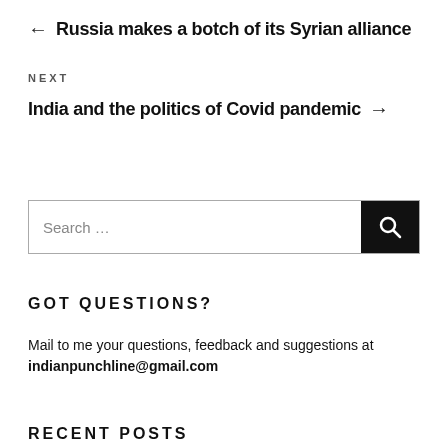← Russia makes a botch of its Syrian alliance
NEXT
India and the politics of Covid pandemic →
[Figure (other): Search box with text input field labeled 'Search …' and a black search button with magnifying glass icon]
GOT QUESTIONS?
Mail to me your questions, feedback and suggestions at indianpunchline@gmail.com
RECENT POSTS